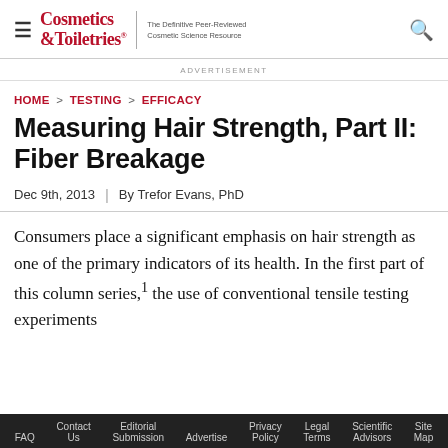Cosmetics & Toiletries — The Definitive Peer-Reviewed Cosmetic Science Resource
ADVERTISEMENT
HOME > TESTING > EFFICACY
Measuring Hair Strength, Part II: Fiber Breakage
Dec 9th, 2013 | By Trefor Evans, PhD
Consumers place a significant emphasis on hair strength as one of the primary indicators of its health. In the first part of this column series,1 the use of conventional tensile testing experiments
FAQ  Contact Us  Editorial Submission  Advertise  Privacy Policy  Legal Terms  Scientific Advisors  Site Map